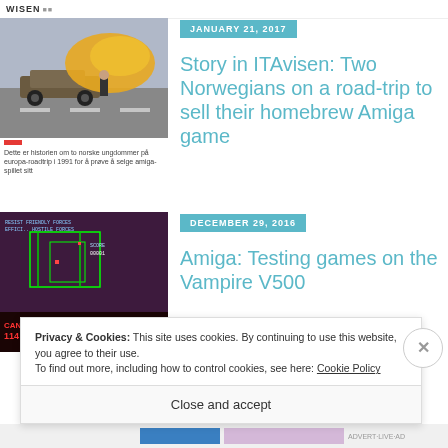WISEN
[Figure (photo): Photo of a large yellow inflatable object or sail on a highway with a car nearby]
Dette er historien om to norske ungdommer på europa-roadtrip i 1991 for å prøve å selge amiga-spillet sitt
JANUARY 21, 2017
Story in ITAvisen: Two Norwegians on a road-trip to sell their homebrew Amiga game
[Figure (screenshot): Screenshot of a retro video game showing game UI with green wireframe graphics, score display, CANNON-114, HOUSE OPERATIVE text on dark background]
DECEMBER 29, 2016
Amiga: Testing games on the Vampire V500
Privacy & Cookies: This site uses cookies. By continuing to use this website, you agree to their use.
To find out more, including how to control cookies, see here: Cookie Policy
Close and accept